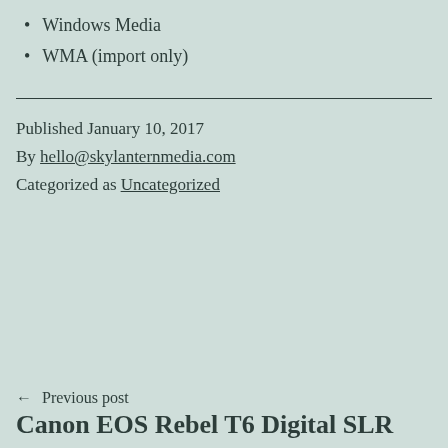Windows Media
WMA (import only)
Published January 10, 2017
By hello@skylanternmedia.com
Categorized as Uncategorized
← Previous post
Canon EOS Rebel T6 Digital SLR